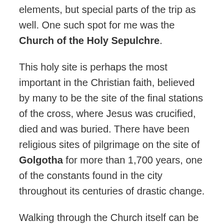elements, but special parts of the trip as well. One such spot for me was the Church of the Holy Sepulchre.
This holy site is perhaps the most important in the Christian faith, believed by many to be the site of the final stations of the cross, where Jesus was crucified, died and was buried. There have been religious sites of pilgrimage on the site of Golgotha for more than 1,700 years, one of the constants found in the city throughout its centuries of drastic change.
Walking through the Church itself can be a little confusing unless you know what you're doing and what you're looking at. I didn't. Instead I meandered, glancing at my guide book and just enjoying being in the church